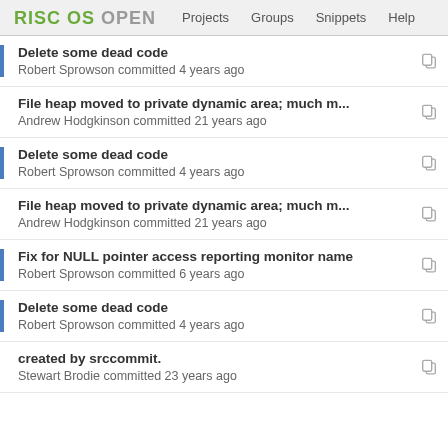RISC OS OPEN — Projects  Groups  Snippets  Help
Delete some dead code
Robert Sprowson committed 4 years ago
File heap moved to private dynamic area; much m...
Andrew Hodgkinson committed 21 years ago
Delete some dead code
Robert Sprowson committed 4 years ago
File heap moved to private dynamic area; much m...
Andrew Hodgkinson committed 21 years ago
Fix for NULL pointer access reporting monitor name
Robert Sprowson committed 6 years ago
Delete some dead code
Robert Sprowson committed 4 years ago
created by srccommit.
Stewart Brodie committed 23 years ago